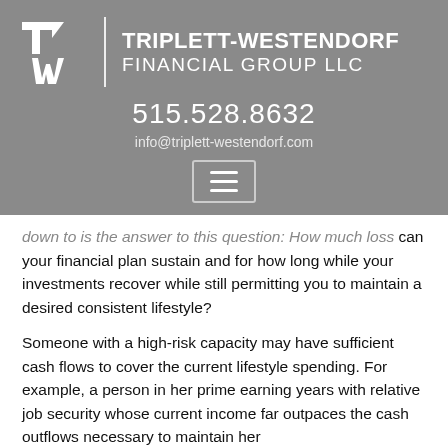[Figure (logo): Triplett-Westendorf Financial Group LLC logo with stylized TW monogram and company name]
515.528.8632
info@triplett-westendorf.com
down to is the answer to this question: How much loss can your financial plan sustain and for how long while your investments recover while still permitting you to maintain a desired consistent lifestyle?
Someone with a high-risk capacity may have sufficient cash flows to cover the current lifestyle spending. For example, a person in her prime earning years with relative job security whose current income far outpaces the cash outflows necessary to maintain her